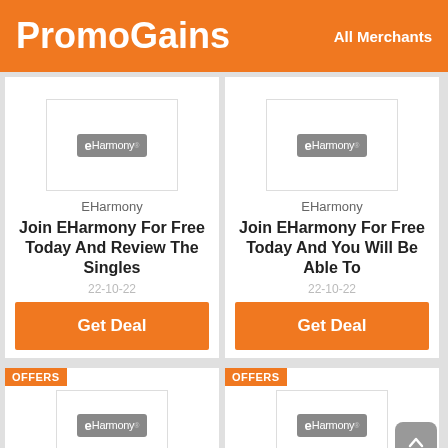PromoGains  All Merchants
[Figure (screenshot): EHarmony deal card 1: logo, merchant name EHarmony, title 'Join EHarmony For Free Today And Review The Singles', date 22-10-22, Get Deal button]
[Figure (screenshot): EHarmony deal card 2: logo, merchant name EHarmony, title 'Join EHarmony For Free Today And You Will Be Able To', date 22-10-22, Get Deal button]
[Figure (screenshot): EHarmony offer card 3 (bottom left): OFFERS badge, EHarmony logo, merchant name EHarmony (partial, bottom cut off)]
[Figure (screenshot): EHarmony offer card 4 (bottom right): OFFERS badge, EHarmony logo, merchant name EHarmony (partial, bottom cut off), scroll-to-top button]